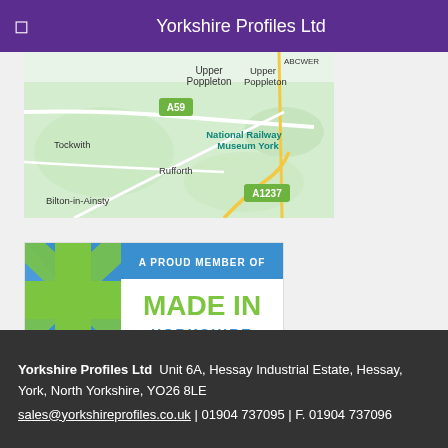Yorkshire Profiles Ltd
[Figure (map): Google Maps view showing area around York, UK. Visible place names include Upper Poppleton, National Railway Museum York, Rufforth, Tockwith, Bilton-in-Ainsty. Road labels A59 and A1237 visible.]
[Figure (logo): A Proud Member of Made In Yorkshire badge/logo with Union Jack flag graphic on left and text on right]
Yorkshire Profiles Ltd  Unit 6A, Hessay Industrial Estate, Hessay, York, North Yorkshire, YO26 8LE
sales@yorkshireprofiles.co.uk | 01904 737095 | F. 01904 737096